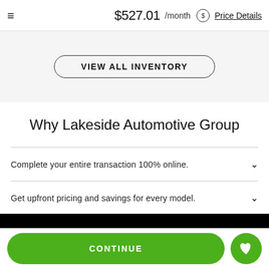$527.01 /month Price Details
VIEW ALL INVENTORY
Why Lakeside Automotive Group
Complete your entire transaction 100% online.
Get upfront pricing and savings for every model.
CONTINUE